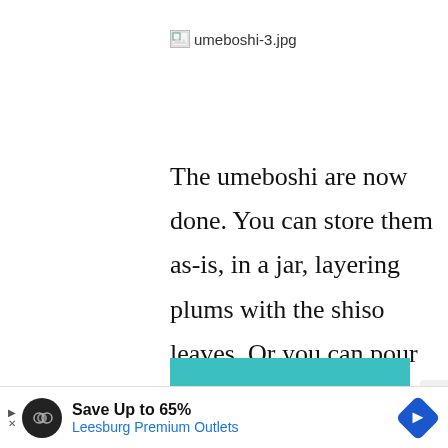[Figure (other): Broken image placeholder with filename label 'umeboshi-3.jpg']
The umeboshi are now done. You can store them as-is, in a jar, layering plums with the shiso leaves. Or you can pour bac' [obscured] vinegar, to g This is what
[Figure (logo): ShareASale Partner Network logo banner in teal/cyan color with partial text visible. Contains circular logo icon, 'SH' text, 'PARTNER NETWORK' subtitle, and partial text 'Earning site & social']
[Figure (other): Bottom advertisement banner: 'Save Up to 65% Leesburg Premium Outlets' with infinity loop icon and blue diamond directional sign icon]